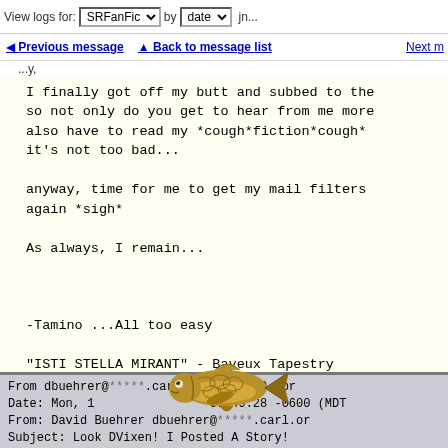View logs for: SRFanFic by date
◄ Previous message  ▲ Back to message list  Next m
...y,
I finally got off my butt and subbed to the
so not only do you get to hear from me more
also have to read my *cough*fiction*cough*
it's not too bad...

anyway, time for me to get my mail filters
again *sigh*

As always, I remain...



-Tamino ...All too easy

"ISTI STELLA MIRANT" - Bayeux Tapestry
tamino@**********.wow.aust.com
From dbuehrer@*****.carl.org Mon, 19 Apr
Date: Mon, 19... 07:49:28 -0600 (MDT
From: David Buehrer dbuehrer@*****.carl.or
Subject: Look DVixen! I Posted A Story!